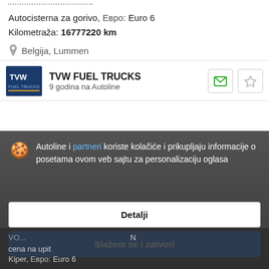Autocisterna za gorivo, Евро: Euro 6
Kilometraža: 16777220 km
Belgija, Lummen
TVW FUEL TRUCKS
9 godina na Autoline
Autoline i partneri koriste kolačiće i prikupljaju informacije o posetama ovom veb sajtu za personalizaciju oglasa
Detalji
Slažem se i zatvori
cena na upit
Kiper, Евро: Euro 6